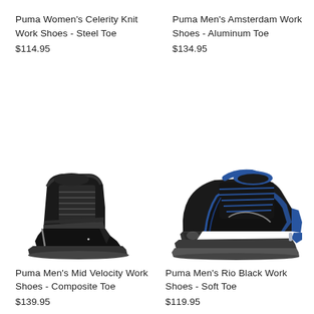Puma Women's Celerity Knit Work Shoes - Steel Toe
$114.95
Puma Men's Amsterdam Work Shoes - Aluminum Toe
$134.95
[Figure (photo): Black Puma mid-top work boot with steel toe, lace-up, gray sole]
[Figure (photo): Black and blue Puma low-top work sneaker with aluminum toe and blue accents]
Puma Men's Mid Velocity Work Shoes - Composite Toe
$139.95
Puma Men's Rio Black Work Shoes - Soft Toe
$119.95